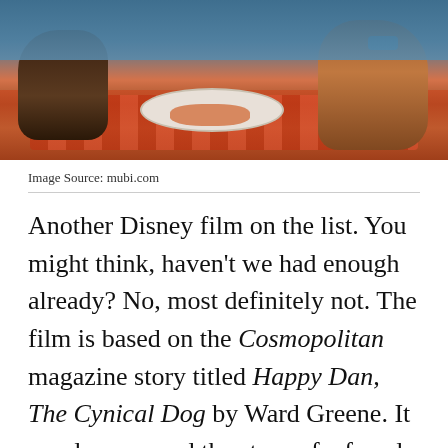[Figure (photo): Animated still from Lady and the Tramp Disney film showing two dogs at a table with a plate of spaghetti, on a red checkered tablecloth.]
Image Source: mubi.com
Another Disney film on the list. You might think, haven't we had enough already? No, most definitely not. The film is based on the Cosmopolitan magazine story titled Happy Dan, The Cynical Dog by Ward Greene. It revolves around the story of a female American Cocker Spaniel by the name of Lady, who falls in love with a streetwise downtown Mutt by the name of Tramp. Using the medium of animation to tell an unconventional story of love between two dogs, the film also fuses the musical genre with the romance